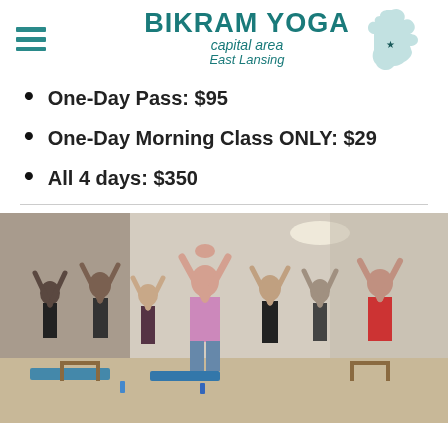BIKRAM YOGA capital area East Lansing
One-Day Pass: $95
One-Day Morning Class ONLY: $29
All 4 days: $350
[Figure (photo): Group of people doing yoga in a studio with mirrors, arms raised overhead, various yoga attire]